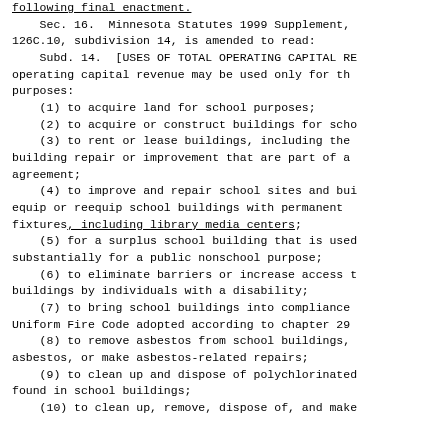following final enactment.
Sec. 16.  Minnesota Statutes 1999 Supplement, 126C.10, subdivision 14, is amended to read:
Subd. 14.  [USES OF TOTAL OPERATING CAPITAL RE operating capital revenue may be used only for th purposes:
(1) to acquire land for school purposes;
(2) to acquire or construct buildings for scho
(3) to rent or lease buildings, including the building repair or improvement that are part of a agreement;
(4) to improve and repair school sites and bui equip or reequip school buildings with permanent fixtures, including library media centers;
(5) for a surplus school building that is used substantially for a public nonschool purpose;
(6) to eliminate barriers or increase access t buildings by individuals with a disability;
(7) to bring school buildings into compliance Uniform Fire Code adopted according to chapter 29
(8) to remove asbestos from school buildings, asbestos, or make asbestos-related repairs;
(9) to clean up and dispose of polychlorinated found in school buildings;
(10) to clean up, remove, dispose of, and make